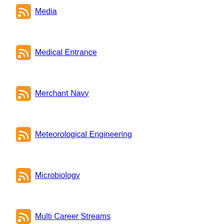Media
Medical Entrance
Merchant Navy
Meteorological Engineering
Microbiology
Multi Career Streams
Music Therapy
Mycology
Nano Science
Naval Architecture
Neurologist
NTSE
Nursing